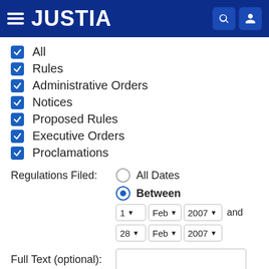JUSTIA
All
Rules
Administrative Orders
Notices
Proposed Rules
Executive Orders
Proclamations
Regulations Filed: All Dates / Between 1 Feb 2007 and 28 Feb 2007
Full Text (optional):